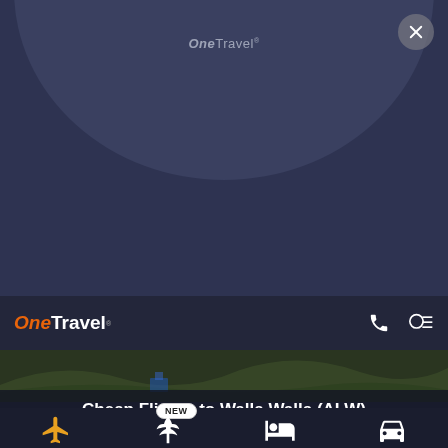[Figure (screenshot): Dark navy background with large circular arc element at top center of page]
OneTravel®
[Figure (screenshot): Close/X button circle in top-right corner]
OneTravel navigation bar with phone and account icons
Cheap Flights to Walla Walla (ALW)
[Figure (screenshot): Bottom navigation icons: airplane (flights), palm tree (vacations) with NEW badge, hotel, car icons]
NEW badge above vacation/packages icon